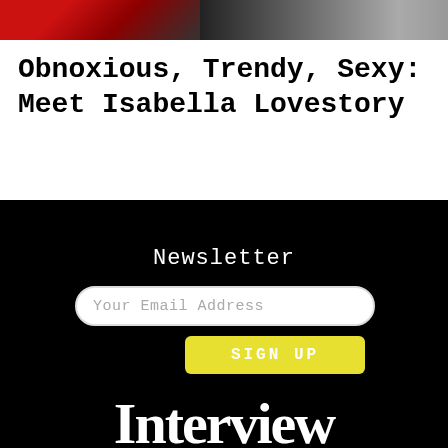[Figure (photo): Two cropped images at top: left shows red/dark tones (appears to be a fashion or music scene), right shows a performer or scene with darker tones and stage lighting.]
Obnoxious, Trendy, Sexy: Meet Isabella Lovestory
Newsletter
Your Email Address
SIGN UP
[Figure (logo): Interview magazine handwritten-style logo in white on black background, partially visible at the bottom of the page.]